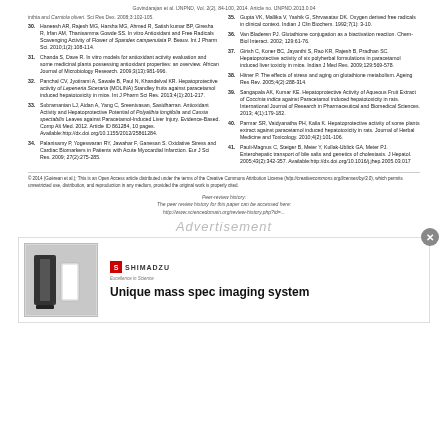Govindarajan et al. IJNPND, Vol. 2(2), 84-100, 2014. Article no. IJNPND.2013.0.04
30. Haneesh AR, Rajesh MG, Harsha MG, Ahmed R, Satish kumar BP, Giresha R, Irfan AM, Thanisamma Gowda SS. In vitro Antioxidant and Free Radicals Scavenging Activity of Flower of Spandex campenulata P. Beauv. Int J Pharm Sci Res. 2010;1(2):108-114.
31. Chanda S, Dave R. In vitro models for antioxidant activity evaluation and some medicinal plants possessing antioxidant properties: an overview. African Journal of Microbiology Research. 2009;3(13):981-996.
32. Panchal CV, Jyotirami A, Sawale B, Paul N, Khandelval KR. Hepatoprotective activity of Lepeneria Siceraria (MOLINA) Standley fruits against paracetamol induced hepatotoxicity in mice. Int J Pharm Sci Res. 2013;4(1):201-217.
33. Subramanian LJ, Aidan A, Yang C, Sreenivasan, Sasidharran. Antioxidant Activity and Hepatoprotective Potential of Polyalthia longifolia and Cassia spectabilis Leaves against Paracetamol-Induced Liver Injury. Evidence-Based. Comp Alt Med. 2012. Article ID 861284, 10 pages. Available:http://dx.doi.org/10.1155/2012/25861284.
34. Palanisamy P, Yogeswaran RY, Jawahar F, Ganesan S. Oxidative Stress and Cardiac Biomarkers in Patients with Acute Myocardial Infarction. Eur J Sci Res. 2009; 27(2):275-285.
35. Gupta VK, Mallika V, Yashik G, Shrvasatav DK. Oxygen derived free radicals in clinical context. Indian J Clin Biochem. 1992;7(1): 3-10.
36. Van Bladeren PJ. Glutathione conjugation as a biactivation reaction. Chem-Biol Interact. 2002; 129:61-76.
37. Girish C, Koner BC, Jayanthi S, Rao KR, Rajesh B, Pradhan SC. Hepatoprotective activity of six polyherbal formulations in paracetamol induced liver toxicity in mice. Indian J Med Res. 2009;129:569-578.
38. Hitner P. The effects of stress and aging on glutathione metabolism. Ageing Res Rev. 2005;4(2):288-314.
39. Sangapala AK, Kumar KE. Hepatoprotective Activity of Aqueous Fruit Extract of Coccinia indica against Paracetamol induced hepatotoxicity in rats. International Journal of Research in Pharmaceutical and Biomedical Sciences. 2013; 4(1):179-182.
40. Parmar SR, Vaidyanatha PH, Kalia K. Hepatoprotective activity of some plants extract against paracetamol induced hepatotoxicity in rats. Journal of Herbal Medicine and Toxicology. 2010;4(2):101-106.
41. Pauli-Magnus C, Steiger B, Meier Y, Kullak-Ublick GA, Meier PJ. Enterohepatic transport of bile salts and genetics of cholestasis. J Hepatol. 2005;43(2):342-357. Available:http://dx.doi.org/10.1016/j.jhep.2005.03.017
© 2014 (Goérean et al.); This is an Open Access article distributed under the terms of the Creative Commons Attribution License (http://creativecommons.org/licenses/by/3.0), which permits unrestricted use, distribution, and reproduction in any medium, provided the original work is properly cited.
Peer-review history:
The peer review history for this paper can be accessed here:
http://www.sciencedomain.org/review-history.php?...
[Figure (other): Advertisement banner for Shimadzu mass spec imaging system with product image and company logo]